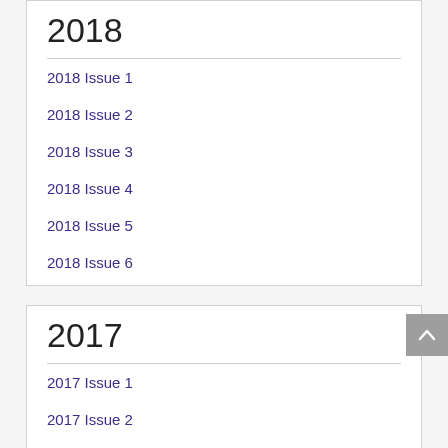2018
2018 Issue 1
2018 Issue 2
2018 Issue 3
2018 Issue 4
2018 Issue 5
2018 Issue 6
2017
2017 Issue 1
2017 Issue 2
2017 Issue 3